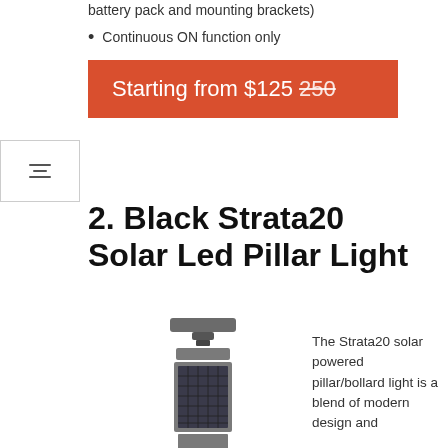battery pack and mounting brackets)
Continuous ON function only
Starting from $125 250
2. Black Strata20 Solar Led Pillar Light
[Figure (photo): Photo of a Black Strata20 Solar LED Pillar Light — a tall grey solar-powered bollard/pillar lamp with solar panel and sensor visible]
The Strata20 solar powered pillar/bollard light is a blend of modern design and